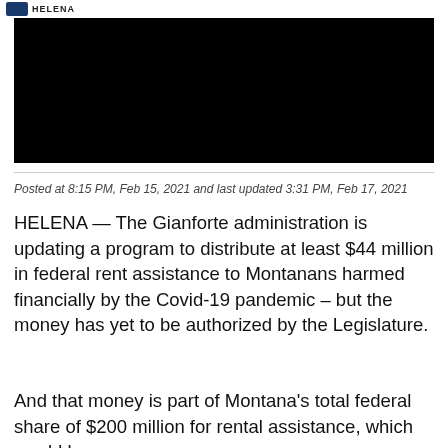HELENA
[Figure (screenshot): Black video player embed]
Posted at 8:15 PM, Feb 15, 2021 and last updated 3:31 PM, Feb 17, 2021
HELENA — The Gianforte administration is updating a program to distribute at least $44 million in federal rent assistance to Montanans harmed financially by the Covid-19 pandemic – but the money has yet to be authorized by the Legislature.
And that money is part of Montana's total federal share of $200 million for rental assistance, which would be